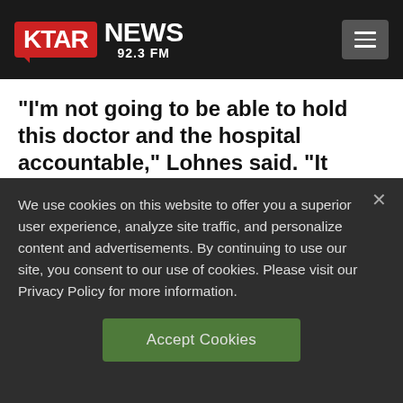[Figure (logo): KTAR News 92.3 FM logo with red rounded rectangle for KTAR and white NEWS text, plus hamburger menu button on the right]
“I’m not going to be able to hold this doctor and the hospital accountable,” Lohnes said. “It affects the whole gauntlet of what I thought America was all about.”
(Copyright 2012 The Associated Press. All
We use cookies on this website to offer you a superior user experience, analyze site traffic, and personalize content and advertisements. By continuing to use our site, you consent to our use of cookies. Please visit our Privacy Policy for more information.
Accept Cookies